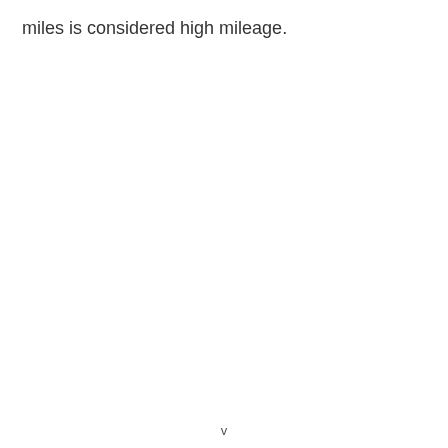miles is considered high mileage.
v